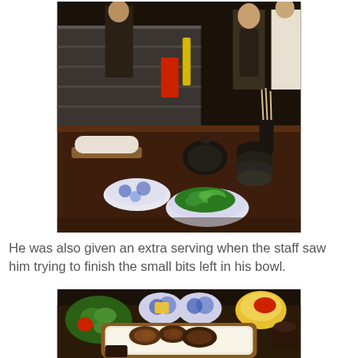[Figure (photo): Photo of a Japanese restaurant counter with bowls of salad greens, a rolled hot towel on a wooden tray, dark ceramic teapot, stacked plates, and kitchen staff visible in the background behind a stainless steel counter.]
He was also given an extra serving when the staff saw him trying to finish the small bits left in his bowl.
[Figure (photo): Photo of a Japanese meal tray featuring a large grilled beef rice bowl, side salad with tomato and cucumber, blue and white ceramic bowls, a yellow bowl, and small side dishes arranged on a dark tray.]